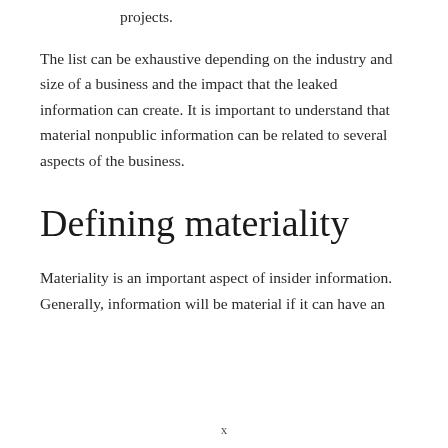projects.
The list can be exhaustive depending on the industry and size of a business and the impact that the leaked information can create. It is important to understand that material nonpublic information can be related to several aspects of the business.
Defining materiality
Materiality is an important aspect of insider information. Generally, information will be material if it can have an impact on an investor’s decision regarding a particular security. Another way to analyze the materiality of information is the impact it can create on security itself. If the nonpublic information would be able to affect the share price of a
x